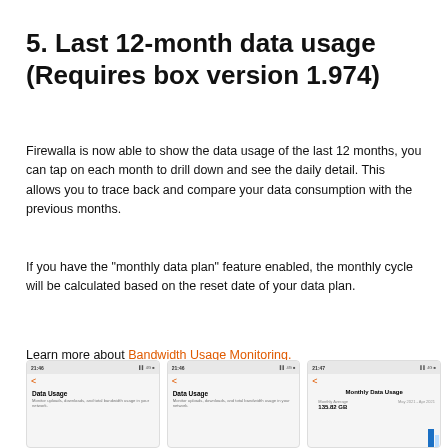5. Last 12-month data usage (Requires box version 1.974)
Firewalla is now able to show the data usage of the last 12 months, you can tap on each month to drill down and see the daily detail. This allows you to trace back and compare your data consumption with the previous months.
If you have the "monthly data plan" feature enabled, the monthly cycle will be calculated based on the reset date of your data plan.
Learn more about Bandwidth Usage Monitoring.
[Figure (screenshot): Three mobile app screenshots showing Firewalla Data Usage screens including monthly data usage view with 135.82 GB average]